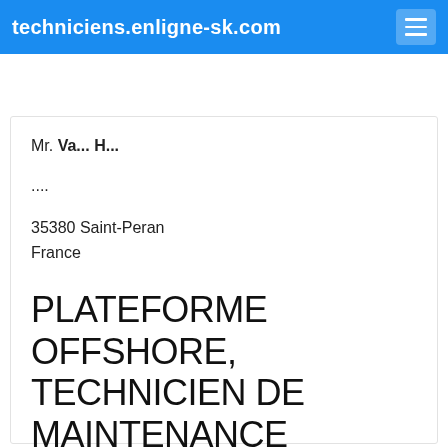techniciens.enligne-sk.com
Mr. Va... H...
....
35380 Saint-Peran
France
PLATEFORME OFFSHORE, TECHNICIEN DE MAINTENANCE
Objet : candidature plateforme offshore